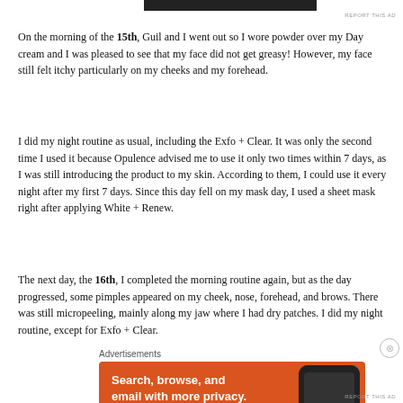[Figure (other): Dark advertisement banner at top of page]
REPORT THIS AD
On the morning of the 15th, Guil and I went out so I wore powder over my Day cream and I was pleased to see that my face did not get greasy! However, my face still felt itchy particularly on my cheeks and my forehead.
I did my night routine as usual, including the Exfo + Clear. It was only the second time I used it because Opulence advised me to use it only two times within 7 days, as I was still introducing the product to my skin. According to them, I could use it every night after my first 7 days. Since this day fell on my mask day, I used a sheet mask right after applying White + Renew.
The next day, the 16th, I completed the morning routine again, but as the day progressed, some pimples appeared on my cheek, nose, forehead, and brows. There was still micropeeling, mainly along my jaw where I had dry patches. I did my night routine, except for Exfo + Clear.
Advertisements
[Figure (illustration): DuckDuckGo advertisement: orange background with text 'Search, browse, and email with more privacy.' and 'All in One Free App' button, phone image on right with DuckDuckGo logo]